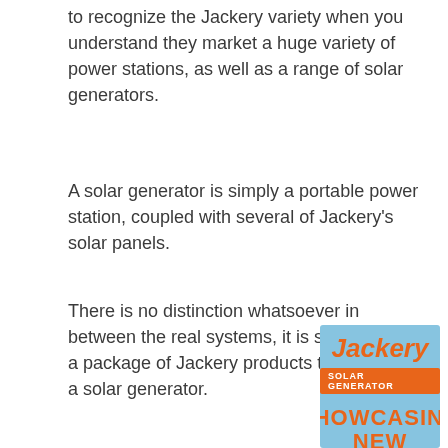to recognize the Jackery variety when you understand they market a huge variety of power stations, as well as a range of solar generators.
A solar generator is simply a portable power station, coupled with several of Jackery's solar panels.
There is no distinction whatsoever in between the real systems, it is successfully a package of Jackery products that makes a solar generator.
[Figure (logo): Jackery Solar Generator advertisement banner with orange Jackery logo, orange 'SOLAR GENERATOR' badge on light blue background, and large orange text reading 'SHOWCASING NEW']